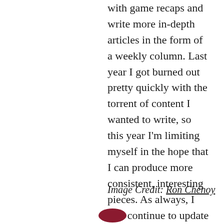with game recaps and write more in-depth articles in the form of a weekly column. Last year I got burned out pretty quickly with the torrent of content I wanted to write, so this year I'm limiting myself in the hope that I can produce more consistent, interesting pieces. As always, I will continue to update the Rapids Roster Tracker and remain plugged into all things Colorado Rapids. I sincerely thank each and every one of you that reads my work. Here's to a wonderful 2019!
Image Credit: Ron Chenoy